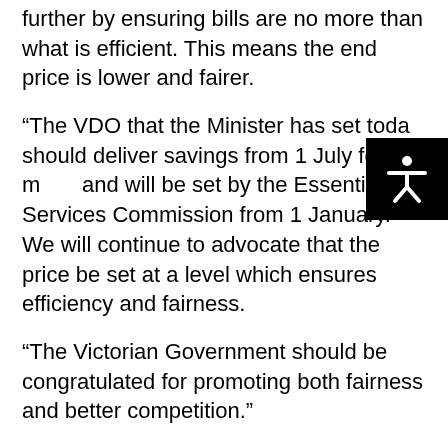further by ensuring bills are no more than what is efficient. This means the end price is lower and fairer.
“The VDO that the Minister has set today should deliver savings from 1 July for many and will be set by the Essential Services Commission from 1 January. We will continue to advocate that the price be set at a level which ensures efficiency and fairness.
“The Victorian Government should be congratulated for promoting both fairness and better competition.”
Consumer Action said that it looks forward to the regulator, the Essential Services Commission, monitoring the impact of the VDO and ensuring benefits are passed on